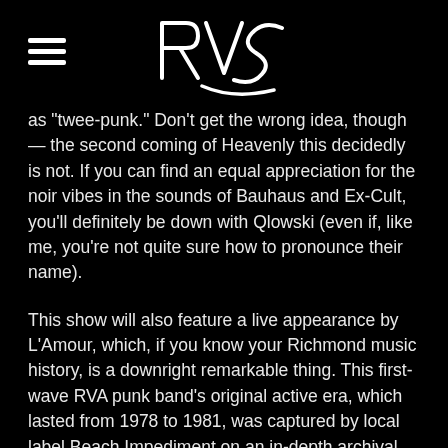RVS logo with hamburger menu
as "twee-punk." Don’t get the wrong idea, though — the second coming of Heavenly this decidedly is not. If you can find an equal appreciation for the noir vibes in the sounds of Bauhaus and Ex-Cult, you’ll definitely be down with Qlowski (even if, like me, you’re not quite sure how to pronounce their name).
This show will also feature a live appearance by L’Amour, which, if you know your Richmond music history, is a downright remarkable thing. This first-wave RVA punk band’s original active era, which lasted from 1978 to 1981, was captured by local label Beach Impediment on an in-depth archival compilation called Look To The Artist, released in 2018. Since then, original L’Amour members David Stover and Tom Applegate have reunited and teamed up with the former Smoke Break rhythm section of